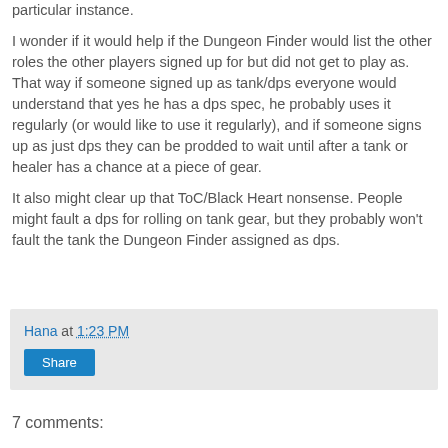particular instance.
I wonder if it would help if the Dungeon Finder would list the other roles the other players signed up for but did not get to play as. That way if someone signed up as tank/dps everyone would understand that yes he has a dps spec, he probably uses it regularly (or would like to use it regularly), and if someone signs up as just dps they can be prodded to wait until after a tank or healer has a chance at a piece of gear.
It also might clear up that ToC/Black Heart nonsense. People might fault a dps for rolling on tank gear, but they probably won't fault the tank the Dungeon Finder assigned as dps.
Hana at 1:23 PM
Share
7 comments: